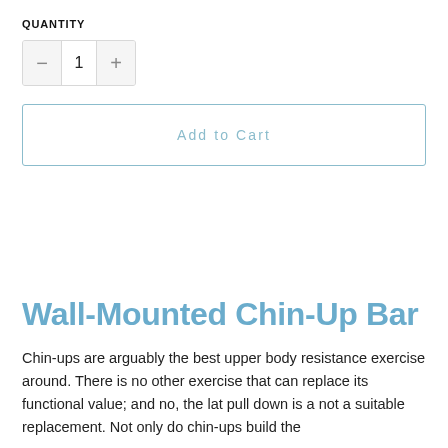QUANTITY
[Figure (other): Quantity selector widget with minus button, value of 1, and plus button]
[Figure (other): Add to Cart button with light blue border and text]
Wall-Mounted Chin-Up Bar
Chin-ups are arguably the best upper body resistance exercise around. There is no other exercise that can replace its functional value; and no, the lat pull down is a not a suitable replacement. Not only do chin-ups build the